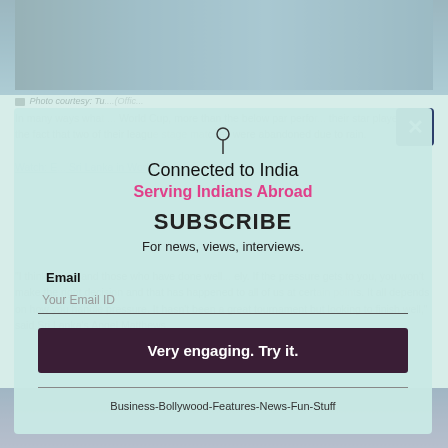[Figure (photo): Top portion of a sports photo showing players in blue jerseys, with stadium or building background]
Photo courtesy: TT....(Official...)
In many ways what ... World Cup, more than the below par perfor... their star players, was the fact that two of their league stage matches were abandoned due to rain.
Watch: E... Sri Lanka in World Cups
"I think pl... and those who have done well... ely. If the pressure gets to you, you won't make the right decision and that has happened to all of us at cert ain points. It all depends on how you handle pressure. It hasn't been a great tournament but looking to finish well," said Sri Lanka's Angel Matthews.
Connected to India
Serving Indians Abroad
SUBSCRIBE
For news, views, interviews.
Email
Your Email ID
Very engaging. Try it.
Business-Bollywood-Features-News-Fun-Stuff
[Figure (photo): Bottom partial photo showing blurred colorful image, possibly cricket-related]